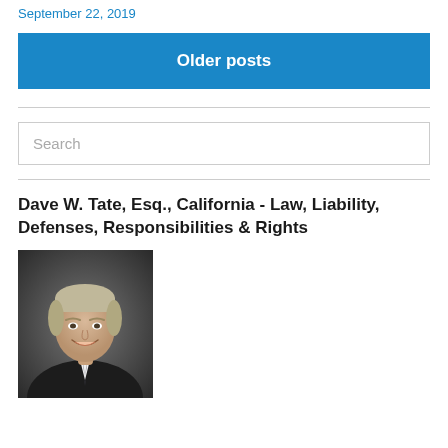September 22, 2019
Older posts
Search
Dave W. Tate, Esq., California - Law, Liability, Defenses, Responsibilities & Rights
[Figure (photo): Professional headshot of Dave W. Tate, Esq. — a middle-aged man in a dark suit and tie, smiling, with gray and light brown hair, against a blurred dark background.]